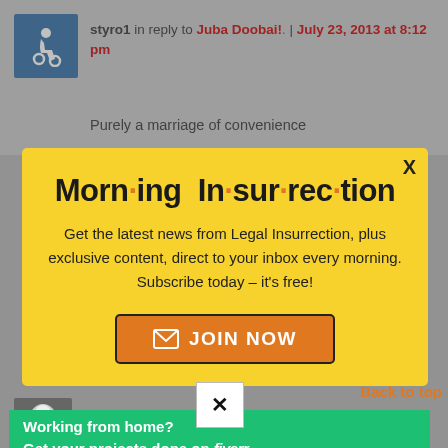[Figure (screenshot): Website comment section with user 'styro1' replying to 'Juba Doobai!' on July 23, 2013 at 8:12 pm. A yellow modal popup titled 'Morning Insurrection' overlays the page, with text about subscribing to Legal Insurrection newsletter and a 'JOIN NOW' button. A Fiverr banner is visible at the bottom.]